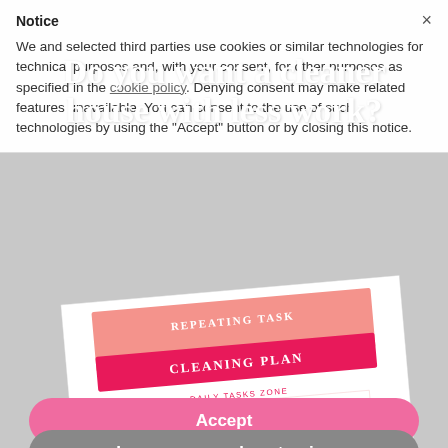Notice
We and selected third parties use cookies or similar technologies for technical purposes and, with your consent, for other purposes as specified in the cookie policy. Denying consent may result in related features unavailable. You can consent to the use of such technologies by using the "Accept" button or by closing this notice.
Do you want a cleaner house with less work?
[Figure (illustration): A document titled 'Repeating Task Cleaning Plan' with Daily Tasks Zone, Weekly Tasks Zone (with columns for Monday through Weekend), and Monthly Tasks Zone sections.]
Accept
Learn more and customize